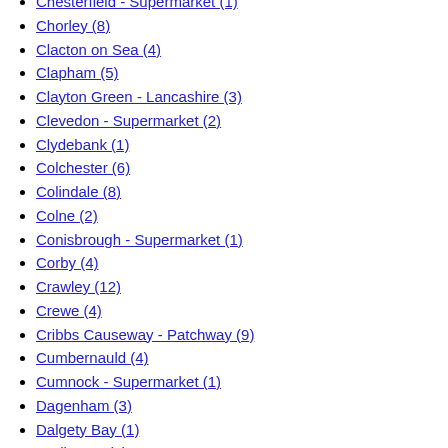Chesterfield - Supermarket (1)
Chorley (8)
Clacton on Sea (4)
Clapham (5)
Clayton Green - Lancashire (3)
Clevedon - Supermarket (2)
Clydebank (1)
Colchester (6)
Colindale (8)
Colne (2)
Conisbrough - Supermarket (1)
Corby (4)
Crawley (12)
Crewe (4)
Cribbs Causeway - Patchway (9)
Cumbernauld (4)
Cumnock - Supermarket (1)
Dagenham (3)
Dalgety Bay (1)
Darlington (2)
Dartford - Ambient Distribution Centre (1)
Derby Supercentre (3)
Didcot - Ambient Distribution Centre (3)
Doncaster (3)
Dudley High Street - Supermarket (1)